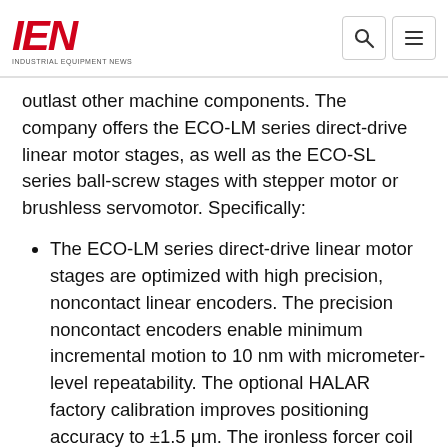IEN — INDUSTRIAL EQUIPMENT NEWS
outlast other machine components. The company offers the ECO-LM series direct-drive linear motor stages, as well as the ECO-SL series ball-screw stages with stepper motor or brushless servomotor. Specifically:
The ECO-LM series direct-drive linear motor stages are optimized with high precision, noncontact linear encoders. The precision noncontact encoders enable minimum incremental motion to 10 nm with micrometer-level repeatability. The optional HALAR factory calibration improves positioning accuracy to ±1.5 μm. The ironless forcer coil provides high force with zero cogging for smooth velocity and position